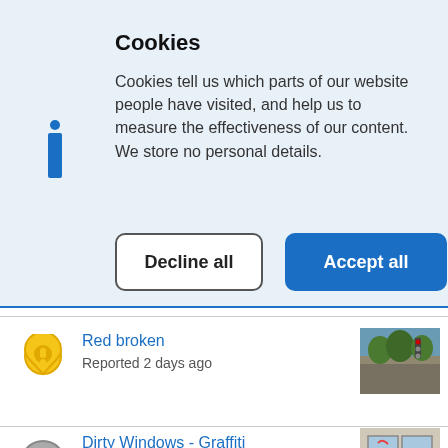Cookies
Cookies tell us which parts of our website people have visited, and help us to measure the effectiveness of our content. We store no personal details.
[Figure (illustration): Blue info icon with dot on top and rectangular stem below]
Decline all
Accept all
Red broken
Reported 2 days ago
[Figure (photo): Photo of a street scene with traffic lights and trees]
[Figure (illustration): Yellow map pin icon with an exclamation mark]
Dirty Windows - Graffiti
[Figure (photo): Photo of a window with graffiti]
[Figure (illustration): Grey circle icon with X mark]